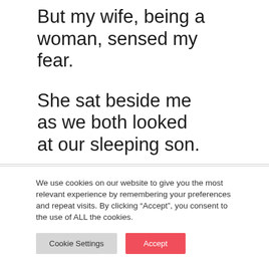But my wife, being a woman, sensed my fear.
She sat beside me as we both looked at our sleeping son.
She asked, “How was your business meeting?”
We use cookies on our website to give you the most relevant experience by remembering your preferences and repeat visits. By clicking “Accept”, you consent to the use of ALL the cookies.
Cookie Settings
Accept